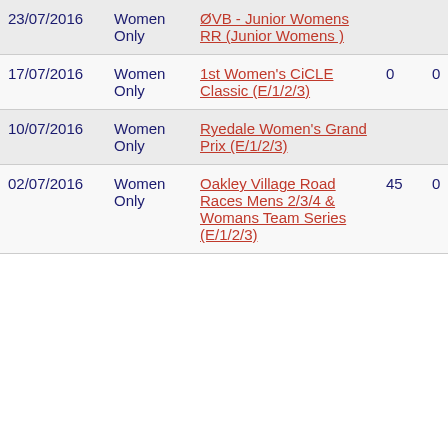| 23/07/2016 | Women Only | ØVB - Junior Womens RR (Junior Womens ) |  |  |
| 17/07/2016 | Women Only | 1st Women's CiCLE Classic (E/1/2/3) | 0 | 0 |
| 10/07/2016 | Women Only | Ryedale Women's Grand Prix (E/1/2/3) |  |  |
| 02/07/2016 | Women Only | Oakley Village Road Races Mens 2/3/4 & Womans Team Series (E/1/2/3) | 45 | 0 |